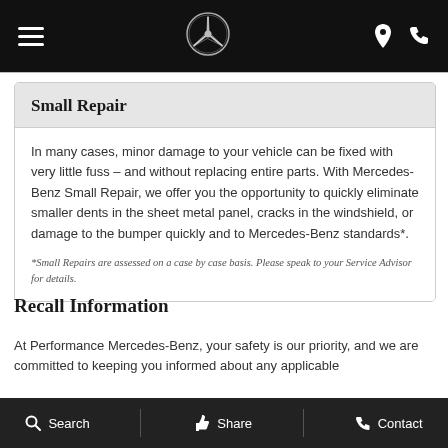Mercedes-Benz navigation header with hamburger menu, logo, location and phone icons
Small Repair
In many cases, minor damage to your vehicle can be fixed with very little fuss – and without replacing entire parts. With Mercedes-Benz Small Repair, we offer you the opportunity to quickly eliminate smaller dents in the sheet metal panel, cracks in the windshield, or damage to the bumper quickly and to Mercedes-Benz standards*.
*Small Repairs are assessed on a case by case basis. Please speak to your Service Advisor for details.
Recall Information
At Performance Mercedes-Benz, your safety is our priority, and we are committed to keeping you informed about any applicable
Search   Share   Contact